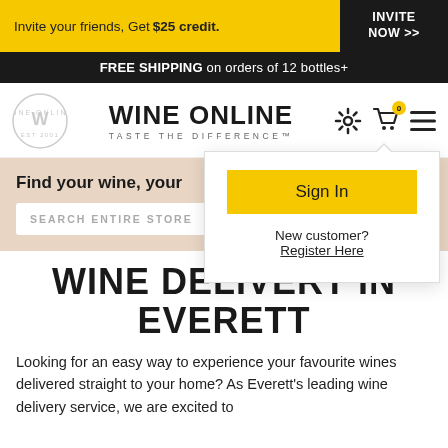Invite your friends, Get $25 credit.
INVITE NOW >>
FREE SHIPPING on orders of 12 bottles+
[Figure (logo): Wine Online circular logo with W and Est 2001]
WINE ONLINE - TASTE THE DIFFERENCE™
[Figure (illustration): Settings gear icon, shopping cart icon with 0 badge, and hamburger menu icon]
Sign In
New customer? Register Here
Find your wine, your...
SEARCH ENTIRE STORE
WINE DELIVERY IN EVERETT
Looking for an easy way to experience your favourite wines delivered straight to your home? As Everett's leading wine delivery service, we are excited to